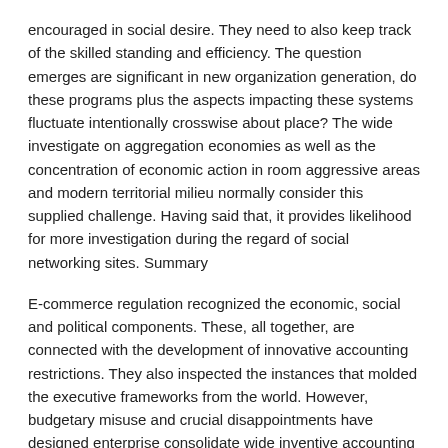encouraged in social desire. They need to also keep track of the skilled standing and efficiency. The question emerges are significant in new organization generation, do these programs plus the aspects impacting these systems fluctuate intentionally crosswise about place? The wide investigate on aggregation economies as well as the concentration of economic action in room aggressive areas and modern territorial milieu normally consider this supplied challenge. Having said that, it provides likelihood for more investigation during the regard of social networking sites. Summary
E-commerce regulation recognized the economic, social and political components. These, all together, are connected with the development of innovative accounting restrictions. They also inspected the instances that molded the executive frameworks from the world. However, budgetary misuse and crucial disappointments have designed enterprise consolidate wide inventive accounting procurements. These procurements work on enterprises to be a warranty to revive restrictions. They were also intended to offer a further premise for the have faith in in budgetary transactions.